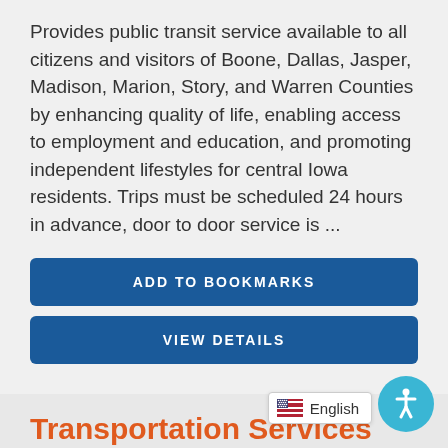Provides public transit service available to all citizens and visitors of Boone, Dallas, Jasper, Madison, Marion, Story, and Warren Counties by enhancing quality of life, enabling access to employment and education, and promoting independent lifestyles for central Iowa residents. Trips must be scheduled 24 hours in advance, door to door service is ...
ADD TO BOOKMARKS
VIEW DETAILS
Transportation Services
AGENCY: SOUTHERN IOWA TROLLEY
Provides the regional public transit system. Oper... the general public. Door-to-do...